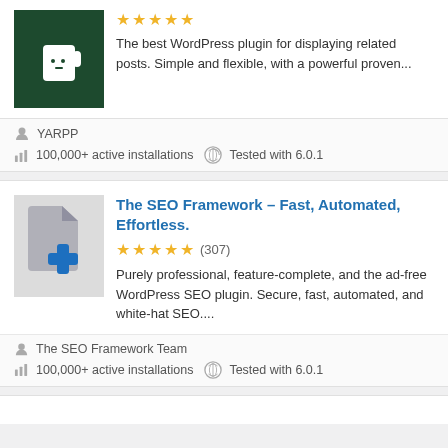[Figure (screenshot): YARPP plugin card (partial top): logo on dark green background, star rating, description text about best WordPress plugin for displaying related posts]
The best WordPress plugin for displaying related posts. Simple and flexible, with a powerful proven...
YARPP
100,000+ active installations   Tested with 6.0.1
The SEO Framework – Fast, Automated, Effortless.
★★★★★ (307)
Purely professional, feature-complete, and the ad-free WordPress SEO plugin. Secure, fast, automated, and white-hat SEO....
The SEO Framework Team
100,000+ active installations   Tested with 6.0.1